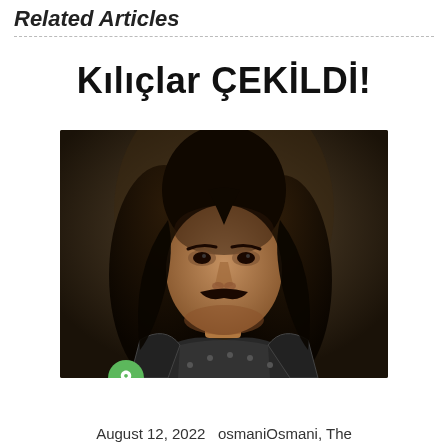Related Articles
Kılıçlar ÇEKİLDİ!
[Figure (photo): Screenshot from atv TV channel showing a man with long dark hair, mustache, wearing dark medieval armor, looking intensely at the camera. The atv logo is visible in the top-left corner of the image. A green pin icon overlay appears at the bottom-left of the image.]
August 12, 2022   osmaniOsmani, The